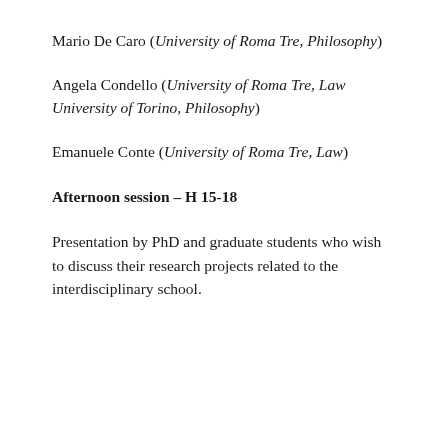Mario De Caro (University of Roma Tre, Philosophy)
Angela Condello (University of Roma Tre, Law University of Torino, Philosophy)
Emanuele Conte (University of Roma Tre, Law)
Afternoon session – H 15-18
Presentation by PhD and graduate students who wish to discuss their research projects related to the interdisciplinary school.